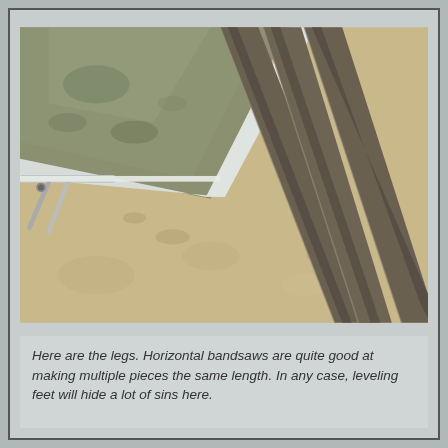[Figure (photo): Close-up photograph of three parallel metal rails/legs laid on a concrete floor next to a metal table surface, with folding metal support brackets visible on the left side.]
Here are the legs. Horizontal bandsaws are quite good at making multiple pieces the same length. In any case, leveling feet will hide a lot of sins here.